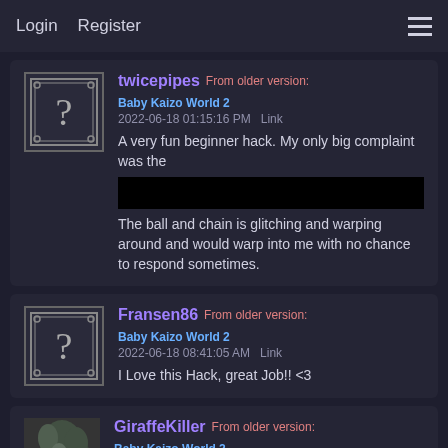Login  Register  ☰
twicepipes  From older version: Baby Kaizo World 2
2022-06-18 01:15:16 PM  Link
A very fun beginner hack. My only big complaint was the [redacted] The ball and chain is glitching and warping around and would warp into me with no chance to respond sometimes.
Fransen86  From older version: Baby Kaizo World 2
2022-06-18 08:41:05 AM  Link
I Love this Hack, great Job!! <3
GiraffeKiller  From older version: Baby Kaizo World 2
2022-06-18 08:05:10 AM  Link
I still have to clear the last "world" but I can't help but come by and comment. You definitely